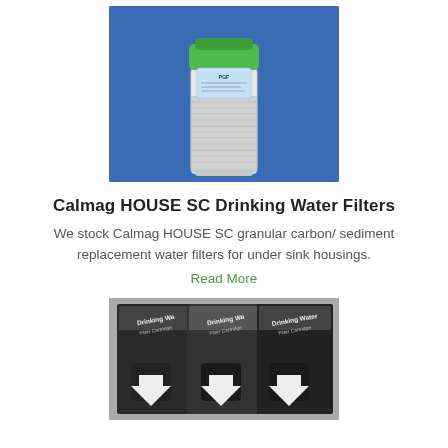[Figure (photo): A Calmag HOUSE SC water filter cartridge standing upright against a blue background. The filter is white/translucent with a green cap at the top and a label showing PGF branding.]
Calmag HOUSE SC Drinking Water Filters
We stock Calmag HOUSE SC granular carbon/ sediment replacement water filters for under sink housings.
Read More
[Figure (photo): Black and white photograph of multiple black boxes labeled 'Drinking Water Filter Cartridge' stacked together with downward-pointing arrow graphics on the front.]